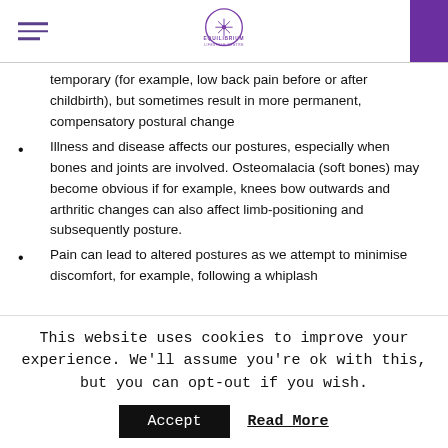Equilibrium Lifestyle Centre
temporary (for example, low back pain before or after childbirth), but sometimes result in more permanent, compensatory postural change
Illness and disease affects our postures, especially when bones and joints are involved. Osteomalacia (soft bones) may become obvious if for example, knees bow outwards and arthritic changes can also affect limb-positioning and subsequently posture.
Pain can lead to altered postures as we attempt to minimise discomfort, for example, following a whiplash
This website uses cookies to improve your experience. We'll assume you're ok with this, but you can opt-out if you wish.